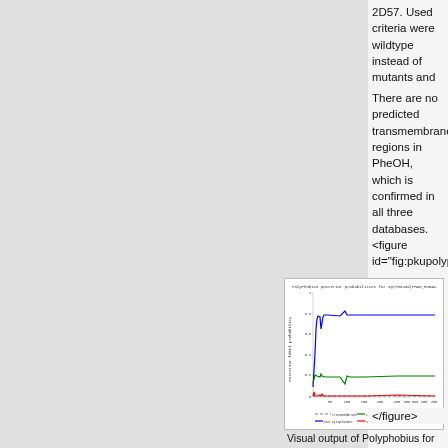2D57. Used criteria were wildtype instead of mutants and sequence coverage.
There are no predicted transmembrane regions in PheOH, which is confirmed in all three databases.<figure id="fig:pkupolyphobiusP00439">
[Figure (continuous-plot): PolyPhobius posterior probabilities for sp|P00439|PHAH_HUMAN. Line chart showing posterior label probability (y-axis 0 to 1) vs sequence position (x-axis 0 to 450). Blue line (non cytoplasmic) stays near 0.8, green line (cytoplasmic) stays near 0.12, red line (signal peptide) stays near 0, and a dashed line (transmembrane) near 0. No transmembrane helix predicted.]
Visual output of Polyphobius for P00439: no transmembranhelix
</figure>